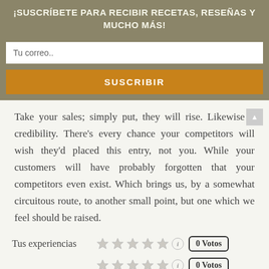¡SUSCRÍBETE PARA RECIBIR RECETAS, RESEÑAS Y MUCHO MÁS!
Tu correo..
SUSCRIBIR
Take your sales; simply put, they will rise. Likewise y credibility. There's every chance your competitors will wish they'd placed this entry, not you. While your customers will have probably forgotten that your competitors even exist. Which brings us, by a somewhat circuitous route, to another small point, but one which we feel should be raised.
Tus experiencias ☆☆☆☆☆ 0 Votos
☆☆☆☆☆ 0 Votos
Summary ☆☆☆☆☆ 0 Votos